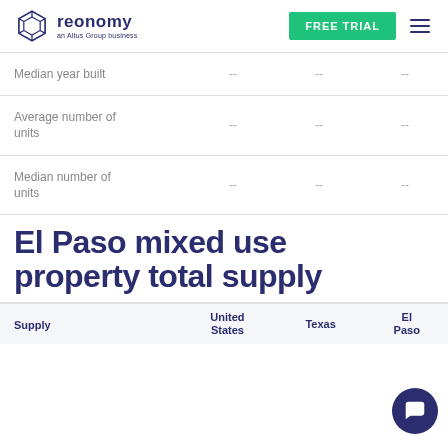reonomy — an Altus Group business | FREE TRIAL
|  |  |  |  |
| --- | --- | --- | --- |
| Median year built | -- | -- | -- |
| Average number of units | -- | -- | -- |
| Median number of units | -- | -- | -- |
El Paso mixed use property total supply
| Supply | United States | Texas | El Paso |
| --- | --- | --- | --- |